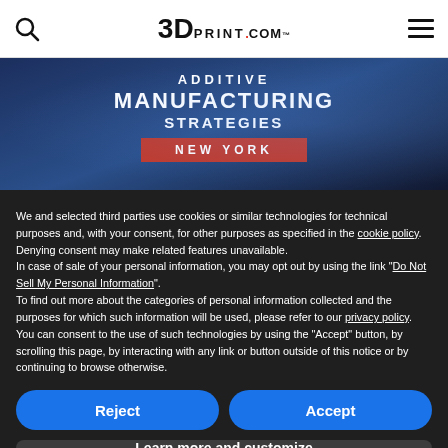3DPrint.com
[Figure (illustration): Additive Manufacturing Strategies New York banner advertisement with dark blue background]
We and selected third parties use cookies or similar technologies for technical purposes and, with your consent, for other purposes as specified in the cookie policy. Denying consent may make related features unavailable.
In case of sale of your personal information, you may opt out by using the link "Do Not Sell My Personal Information".
To find out more about the categories of personal information collected and the purposes for which such information will be used, please refer to our privacy policy.
You can consent to the use of such technologies by using the "Accept" button, by scrolling this page, by interacting with any link or button outside of this notice or by continuing to browse otherwise.
Reject
Accept
Learn more and customize